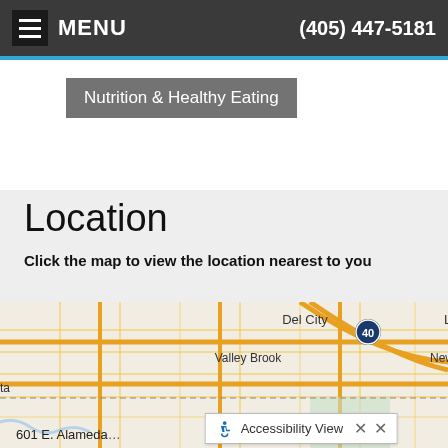MENU   (405) 447-5181
Nutrition & Healthy Eating
Location
Click the map to view the location nearest to you
[Figure (map): Street map showing Del City, Valley Brook, Moore area with zoom controls (+/-). An address label reads '601 E. Alameda' at bottom left and an Accessibility View popup is visible at bottom right.]
601 E. Alameda
Accessibility View